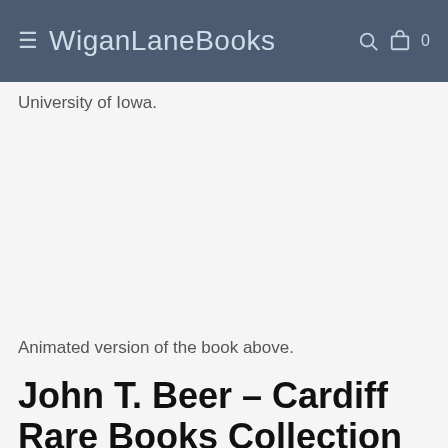≡ WiganLaneBooks 🔍 🛍 0
University of Iowa.
Animated version of the book above.
John T. Beer – Cardiff Rare Books Collection